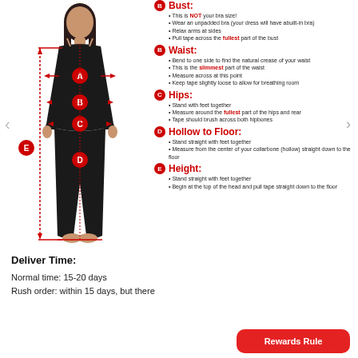[Figure (illustration): Woman in black outfit with measurement lines labeled A (bust), B (waist), C (hips), D (hollow to floor), E (height) shown as red arrows and lines]
Bust: This is NOT your bra size! Wear an unpadded bra (your dress will have abuilt-in bra). Relax arms at sides. Pull tape across the fullest part of the bust
Waist: Bend to one side to find the natural crease of your waist. This is the slimmest part of the waist. Measure across at this point. Keep tape slightly loose to allow for breathing room
Hips: Stand with feet together. Measure around the fullest part of the hips and rear. Tape should brush across both hipbones
Hollow to Floor: Stand straight with feet together. Measure from the center of your collarbone (hollow) straight down to the floor
Height: Stand straight with feet together. Begin at the top of the head and pull tape straight down to the floor
Deliver Time:
Normal time: 15-20 days
Rush order: within 15 days, but there
[Figure (other): Red rounded rectangle button labeled 'Rewards Rule']